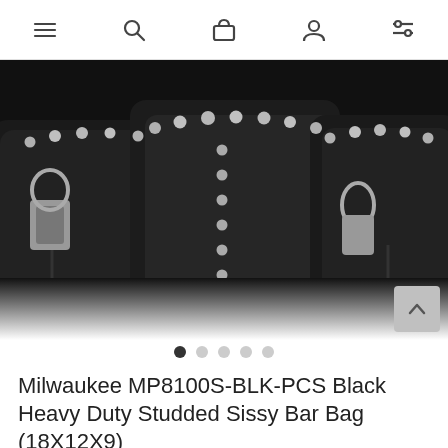navigation icons: menu, search, cart, account, filters
[Figure (photo): Black heavy duty studded sissy bar bag made of leather-like material with silver studs and metal buckle hardware, shown from a close-up angle against a white background. Multiple pockets and compartments visible.]
Milwaukee MP8100S-BLK-PCS Black Heavy Duty Studded Sissy Bar Bag (18X12X9)
$73.19